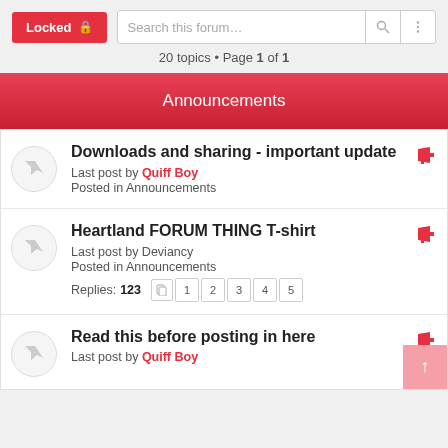Locked | Search this forum...
20 topics • Page 1 of 1
Announcements
Downloads and sharing - important update
Last post by Quiff Boy
Posted in Announcements
Heartland FORUM THING T-shirt
Last post by Deviancy
Posted in Announcements
Replies: 123
Read this before posting in here
Last post by Quiff Boy